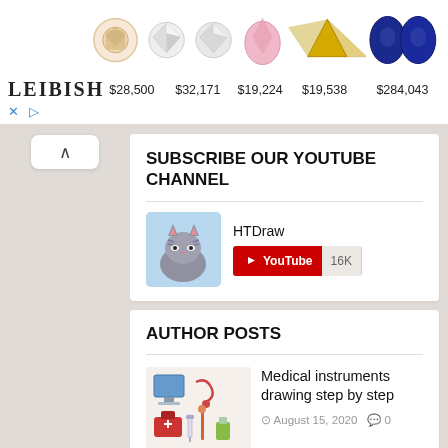[Figure (infographic): Leibish jewelry advertisement banner showing gem images (diamond cushion, diamond round, diamond round, pink pear, yellow fancy pair, blue oval pair) with prices $28,500 $32,171 $19,224 $19,538 $284,043]
SUBSCRIBE OUR YOUTUBE CHANNEL
[Figure (infographic): HTDraw YouTube channel widget with cat avatar, YouTube subscribe button and 16K subscriber count]
AUTHOR POSTS
[Figure (illustration): Thumbnail illustration of medical instruments]
Medical instruments drawing step by step
August 15, 2020  0